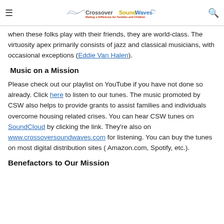CrossoverSoundWaves — Making a Difference for Families and Children
when these folks play with their friends, they are world-class. The virtuosity apex primarily consists of jazz and classical musicians, with occasional exceptions (Eddie Van Halen).
Music on a Mission
Please check out our playlist on YouTube if you have not done so already. Click here to listen to our tunes. The music promoted by CSW also helps to provide grants to assist families and individuals overcome housing related crises. You can hear CSW tunes on SoundCloud by clicking the link. They're also on www.crossoversoundwaves.com for listening. You can buy the tunes on most digital distribution sites ( Amazon.com, Spotify, etc.).
Benefactors to Our Mission